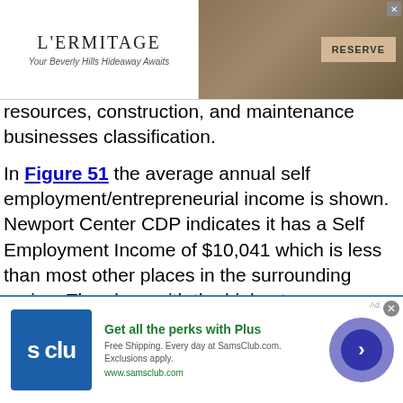[Figure (other): L'Ermitage hotel advertisement banner: 'Your Beverly Hills Hideaway Awaits' with RESERVE button]
resources, construction, and maintenance businesses classification.
In Figure 51 the average annual self employment/entrepreneurial income is shown. Newport Center CDP indicates it has a Self Employment Income of $10,041 which is less than most other places in the surrounding region. The place with the highest average annual self employment income in the area is North Troy which depicts an average annual self employment income of $50,784 ( substantially bigger). Comparing average annual self employment income to the United States average of $40,101, Newport Center CDP is approximately a quarter th
[Figure (other): Sam's Club advertisement: 'Get all the perks with Plus. Free Shipping. Every day at SamsClub.com. Exclusions apply. www.samsclub.com']